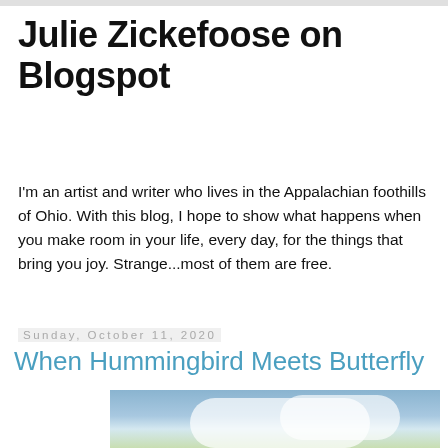Julie Zickefoose on Blogspot
I'm an artist and writer who lives in the Appalachian foothills of Ohio. With this blog, I hope to show what happens when you make room in your life, every day, for the things that bring you joy. Strange...most of them are free.
Sunday, October 11, 2020
When Hummingbird Meets Butterfly
[Figure (photo): Outdoor photograph showing trees with green foliage against a partly cloudy blue sky, with a reddish structure visible at the bottom.]